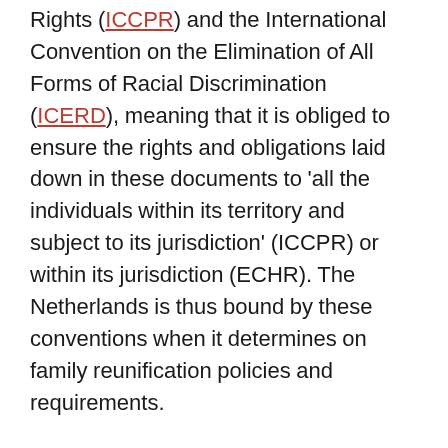Rights (ICCPR) and the International Convention on the Elimination of All Forms of Racial Discrimination (ICERD), meaning that it is obliged to ensure the rights and obligations laid down in these documents to 'all the individuals within its territory and subject to its jurisdiction' (ICCPR) or within its jurisdiction (ECHR). The Netherlands is thus bound by these conventions when it determines on family reunification policies and requirements.
Looking at the Dutch pre-entry test, it is clear that it is mostly nationals from non-western countries but also from former Dutch colonies who are obliged to pass the exam before entering the country, thus resulting in a potentially discriminatory situation. The non-discrimination clauses are laid down in Article 14 ECHR and Article 2 ICCPR. These provisions prohibit discrimination on the basis of, among others, 'sex, race,